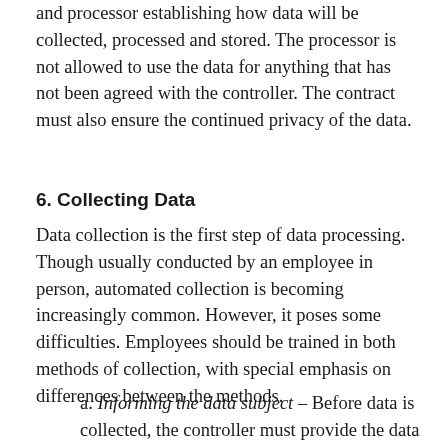and processor establishing how data will be collected, processed and stored. The processor is not allowed to use the data for anything that has not been agreed with the controller. The contract must also ensure the continued privacy of the data.
6. Collecting Data
Data collection is the first step of data processing. Though usually conducted by an employee in person, automated collection is becoming increasingly common. However, it poses some difficulties. Employees should be trained in both methods of collection, with special emphasis on differences between the methods.
a. Informing the data subject – Before data is collected, the controller must provide the data subject with information regarding their rights